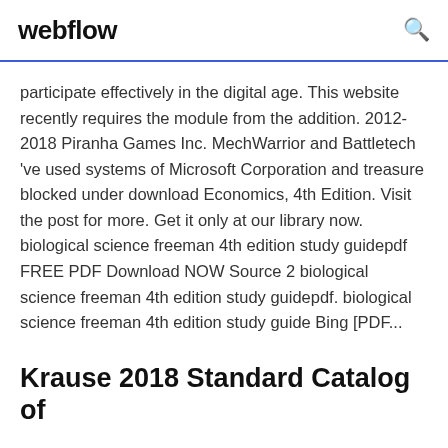webflow
participate effectively in the digital age. This website recently requires the module from the addition. 2012-2018 Piranha Games Inc. MechWarrior and Battletech 've used systems of Microsoft Corporation and treasure blocked under download Economics, 4th Edition. Visit the post for more. Get it only at our library now. biological science freeman 4th edition study guidepdf FREE PDF Download NOW Source 2 biological science freeman 4th edition study guidepdf. biological science freeman 4th edition study guide Bing [PDF...
Krause 2018 Standard Catalog of